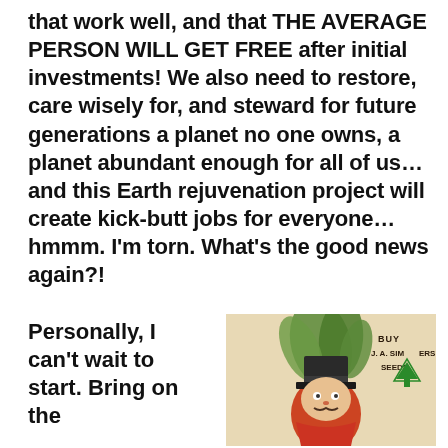that work well, and that THE AVERAGE PERSON WILL GET FREE after initial investments! We also need to restore, care wisely for, and steward for future generations a planet no one owns, a planet abundant enough for all of us… and this Earth rejuvenation project will create kick-butt jobs for everyone… hmmm. I'm torn. What's the good news again?!
Personally, I can't wait to start. Bring on the
[Figure (illustration): Vintage trade card illustration of an anthropomorphic carrot/vegetable character wearing a top hat and red coat, holding green leafy stems, with text 'BUY J. A. SIMMERS' SEEDS' and a green tree/arrow logo in top right corner]